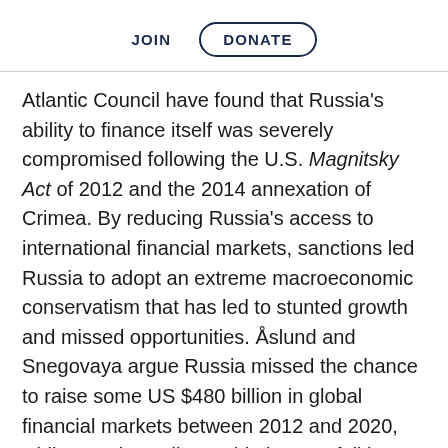JOIN   DONATE
Atlantic Council have found that Russia's ability to finance itself was severely compromised following the U.S. Magnitsky Act of 2012 and the 2014 annexation of Crimea. By reducing Russia's access to international financial markets, sanctions led Russia to adopt an extreme macroeconomic conservatism that has led to stunted growth and missed opportunities. Åslund and Snegovaya argue Russia missed the chance to raise some US $480 billion in global financial markets between 2012 and 2020, while Russians' disposable income fell by over ten percent. Russia is not only poorer, but Putin's regime has also become more autocratic –